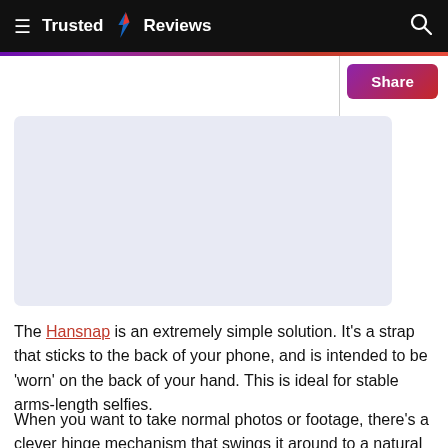Trusted Reviews
[Figure (other): Light blue/lavender placeholder image area]
The Hansnap is an extremely simple solution. It's a strap that sticks to the back of your phone, and is intended to be 'worn' on the back of your hand. This is ideal for stable arms-length selfies.
When you want to take normal photos or footage, there's a clever hinge mechanism that swings it around to a natural